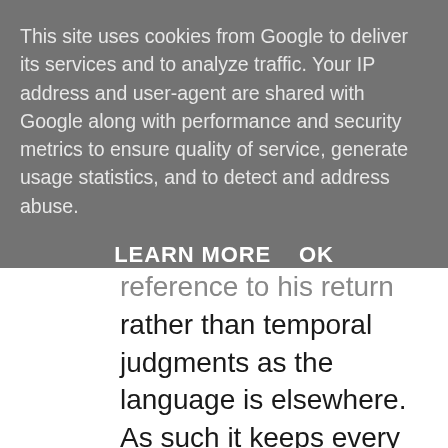This site uses cookies from Google to deliver its services and to analyze traffic. Your IP address and user-agent are shared with Google along with performance and security metrics to ensure quality of service, generate usage statistics, and to detect and address abuse.
LEARN MORE    OK
reference to his return rather than temporal judgments as the language is elsewhere. As such it keeps every church since on their toes.
    Jesus acknowledges some there have not "soiled their garments" -